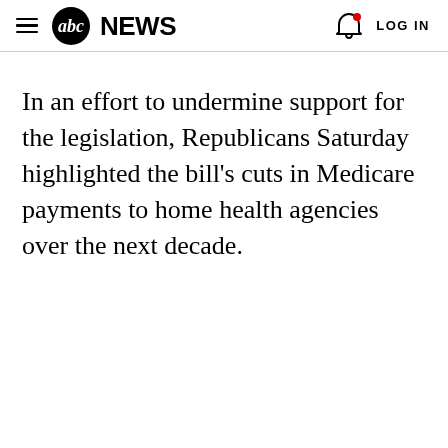abc NEWS | LOG IN
In an effort to undermine support for the legislation, Republicans Saturday highlighted the bill's cuts in Medicare payments to home health agencies over the next decade.